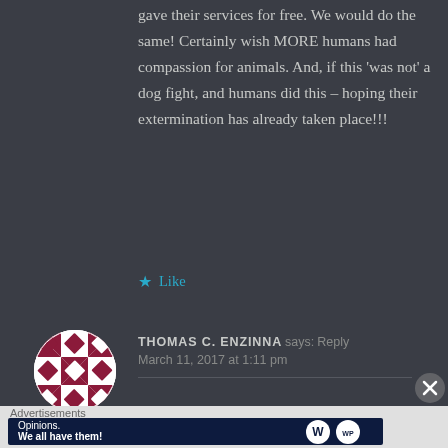gave their services for free. We would do the same! Certainly wish MORE humans had compassion for animals. And, if this ‘was not’ a dog fight, and humans did this – hoping their extermination has already taken place!!!
★ Like
[Figure (illustration): Avatar image for Thomas C. Enzinna: circular avatar with a white and dark red geometric quilt-pattern design]
THOMAS C. ENZINNA says: Reply
March 11, 2017 at 1:11 pm
Advertisements
[Figure (screenshot): WordPress advertisement banner: dark blue background with text 'Opinions. We all have them!' and WordPress and WPBeginner logos]